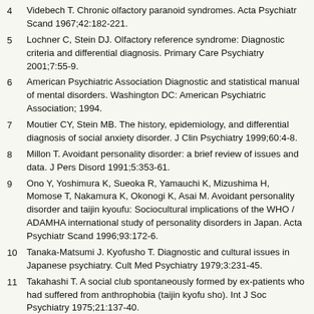4 Videbech T. Chronic olfactory paranoid syndromes. Acta Psychiatr Scand 1967;42:182-221.
5 Lochner C, Stein DJ. Olfactory reference syndrome: Diagnostic criteria and differential diagnosis. Primary Care Psychiatry 2001;7:55-9.
6 American Psychiatric Association Diagnostic and statistical manual of mental disorders. Washington DC: American Psychiatric Association; 1994.
7 Moutier CY, Stein MB. The history, epidemiology, and differential diagnosis of social anxiety disorder. J Clin Psychiatry 1999;60:4-8.
8 Millon T. Avoidant personality disorder: a brief review of issues and data. J Pers Disord 1991;5:353-61.
9 Ono Y, Yoshimura K, Sueoka R, Yamauchi K, Mizushima H, Momose T, Nakamura K, Okonogi K, Asai M. Avoidant personality disorder and taijin kyoufu: Sociocultural implications of the WHO / ADAMHA international study of personality disorders in Japan. Acta Psychiatr Scand 1996;93:172-6.
10 Tanaka-Matsumi J. Kyofusho T. Diagnostic and cultural issues in Japanese psychiatry. Cult Med Psychiatry 1979;3:231-45.
11 Takahashi T. A social club spontaneously formed by ex-patients who had suffered from anthrophobia (taijin kyofu sho). Int J Soc Psychiatry 1975;21:137-40.
12 Hollander E, Aronowitz BR. Comorbid social anxiety and body dysmorphic disorder: Managing the complicated patient. J Clin Psychiatry 1999;60:27-31.
13 Swedo SE, Rapoport JL, Leonard H, Lenane M, Cheslow D. Obsessive-